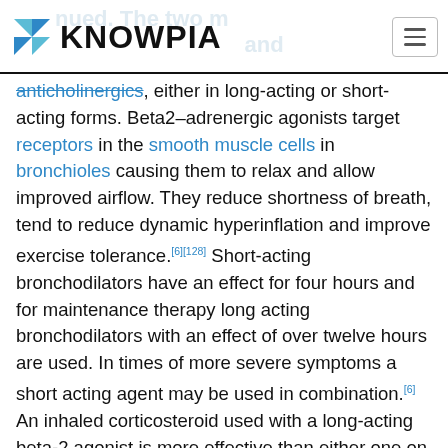KNOWPIA
anticholinergics, either in long-acting or short-acting forms. Beta2–adrenergic agonists target receptors in the smooth muscle cells in bronchioles causing them to relax and allow improved airflow. They reduce shortness of breath, tend to reduce dynamic hyperinflation and improve exercise tolerance.[6][128] Short-acting bronchodilators have an effect for four hours and for maintenance therapy long acting bronchodilators with an effect of over twelve hours are used. In times of more severe symptoms a short acting agent may be used in combination.[6] An inhaled corticosteroid used with a long-acting beta-2 agonist is more effective than either one on its own.[129]
Which type of long-acting agent, long-acting